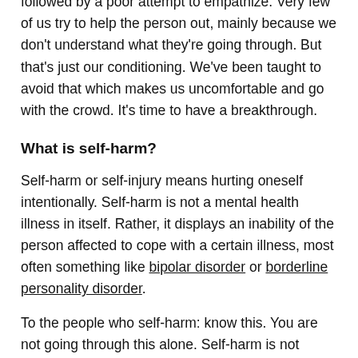disbelief, pity or anything else, just plain horror, followed by a poor attempt to empathize. Very few of us try to help the person out, mainly because we don't understand what they're going through. But that's just our conditioning. We've been taught to avoid that which makes us uncomfortable and go with the crowd. It's time to have a breakthrough.
What is self-harm?
Self-harm or self-injury means hurting oneself intentionally. Self-harm is not a mental health illness in itself. Rather, it displays an inability of the person affected to cope with a certain illness, most often something like bipolar disorder or borderline personality disorder.
To the people who self-harm: know this. You are not going through this alone. Self-harm is not something